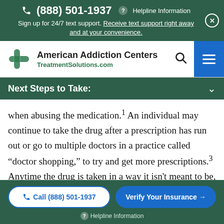(888) 501-1937 ? Helpline Information
Sign up for 24/7 text support. Receive text support right away and at your convenience.
[Figure (logo): American Addiction Centers TreatmentSolutions.com logo with stylized S icon]
Next Steps to Take:
when abusing the medication.¹ An individual may continue to take the drug after a prescription has run out or go to multiple doctors in a practice called “doctor shopping,” to try and get more prescriptions.³ Anytime the drug is taken in a way it isn't meant to be, such as chewing it or altering it to smoke, inject, or snort it, it is considered abuse.¹
Call (888) 501-1937 | Verify Your Insurance → | ? Helpline Information